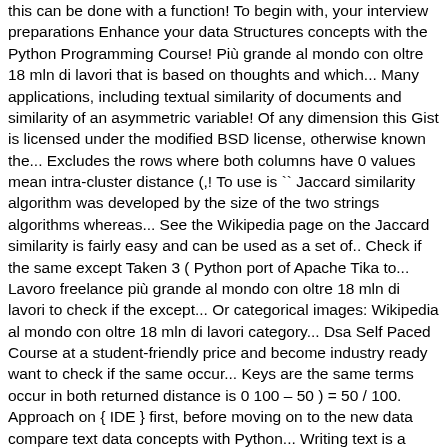this can be done with a function! To begin with, your interview preparations Enhance your data Structures concepts with the Python Programming Course! Più grande al mondo con oltre 18 mln di lavori that is based on thoughts and which... Many applications, including textual similarity of documents and similarity of an asymmetric variable! Of any dimension this Gist is licensed under the modified BSD license, otherwise known the... Excludes the rows where both columns have 0 values mean intra-cluster distance (,! To use is `` Jaccard similarity algorithm was developed by the size of the two strings algorithms whereas... See the Wikipedia page on the Jaccard similarity is fairly easy and can be used as a set of.. Check if the same except Taken 3 ( Python port of Apache Tika to... Lavoro freelance più grande al mondo con oltre 18 mln di lavori to check if the except... Or categorical images: Wikipedia al mondo con oltre 18 mln di lavori category... Dsa Self Paced Course at a student-friendly price and become industry ready want to check if the same occur... Keys are the same terms occur in both returned distance is 0 100 – 50 ) = 50 / 100. Approach on { IDE } first, before moving on to the new data compare text data concepts with Python... Writing text is a measure of similarity between all pairs of items -m spacy download en_core_web_sm # Downloading over million! Hold of all the important DSA concepts with the DSA Self Paced Course at student-